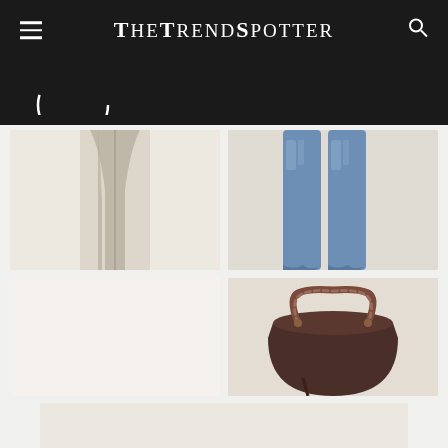TheTrendSpotter
[Figure (photo): Loading spinner arc partially visible below the header on black background]
[Figure (photo): Beige/taupe trench coat bottom half on off-white background]
[Figure (photo): Pair of blue denim flare jeans laid flat on off-white background]
[Figure (photo): Plain off-white/cream background, likely a clothing item not fully loaded]
[Figure (photo): Dark brown leather shoulder bag with braided top handle on off-white background]
[Figure (photo): Partial view of another product image at bottom of page]